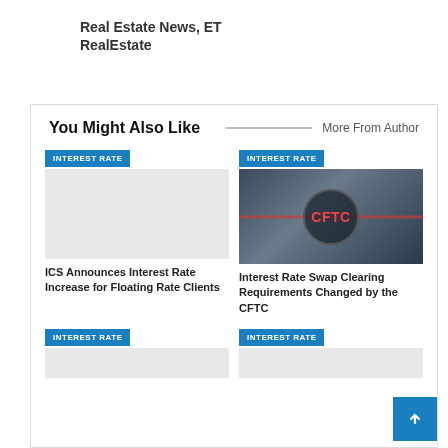Real Estate News, ET RealEstate
You Might Also Like
More From Author
INTEREST RATE — ICS Announces Interest Rate Increase for Floating Rate Clients
[Figure (photo): CFTC interest rate swap concept image with circular diagram and CFTC text in red]
INTEREST RATE — Interest Rate Swap Clearing Requirements Changed by the CFTC
INTEREST RATE (bottom left card)
INTEREST RATE (bottom right card)